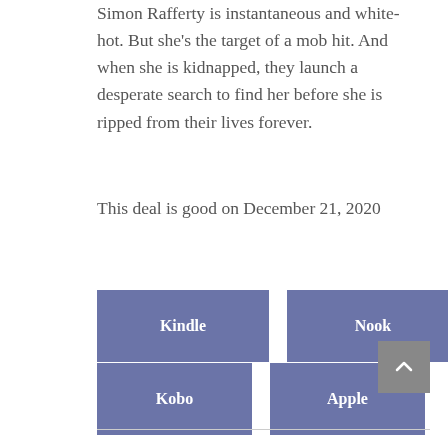Simon Rafferty is instantaneous and white-hot. But she's the target of a mob hit. And when she is kidnapped, they launch a desperate search to find her before she is ripped from their lives forever.
This deal is good on December 21, 2020
Kindle
Nook
Kobo
Apple